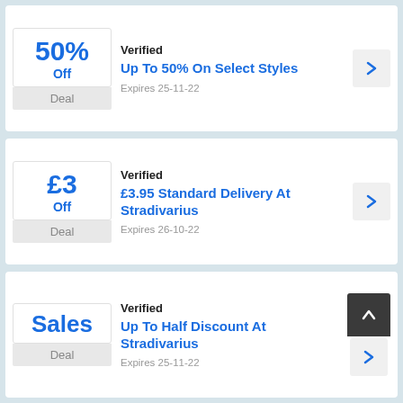Verified | Up To 50% On Select Styles | Expires 25-11-22
Verified | £3.95 Standard Delivery At Stradivarius | Expires 26-10-22
Verified | Up To Half Discount At Stradivarius | Expires 25-11-22